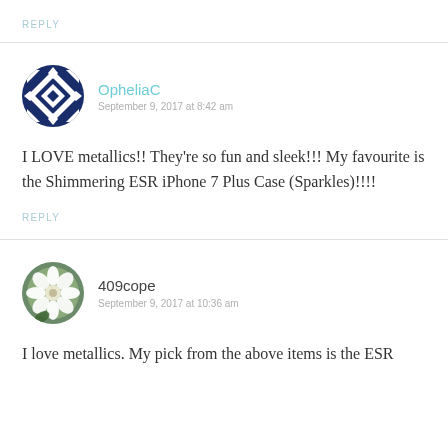REPLY
OpheliaC
September 9, 2017 at 8:42 am
I LOVE metallics!! They’re so fun and sleek!!! My favourite is the Shimmering ESR iPhone 7 Plus Case (Sparkles)!!!!
REPLY
409cope
September 9, 2017 at 10:36 am
I love metallics. My pick from the above items is the ESR iPhone 7 Plus Case...